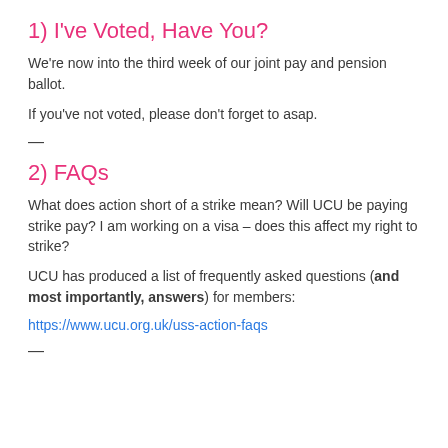1) I've Voted, Have You?
We're now into the third week of our joint pay and pension ballot.
If you've not voted, please don't forget to asap.
—
2) FAQs
What does action short of a strike mean? Will UCU be paying strike pay? I am working on a visa – does this affect my right to strike?
UCU has produced a list of frequently asked questions (and most importantly, answers) for members:
https://www.ucu.org.uk/uss-action-faqs
—